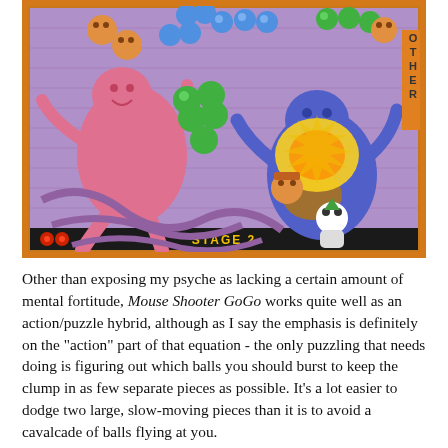[Figure (screenshot): Video game screenshot of Mouse Shooter GoGo, Stage 2. Shows colorful cartoon characters including a large pink monster, blue monster, and various colored ball enemies (blue, green, orange) against a purple brick wall background. Bottom bar shows 'STAGE 2' text and score icons.]
Other than exposing my psyche as lacking a certain amount of mental fortitude, Mouse Shooter GoGo works quite well as an action/puzzle hybrid, although as I say the emphasis is definitely on the "action" part of that equation - the only puzzling that needs doing is figuring out which balls you should burst to keep the clump in as few separate pieces as possible. It's a lot easier to dodge two large, slow-moving pieces than it is to avoid a cavalcade of balls flying at you.